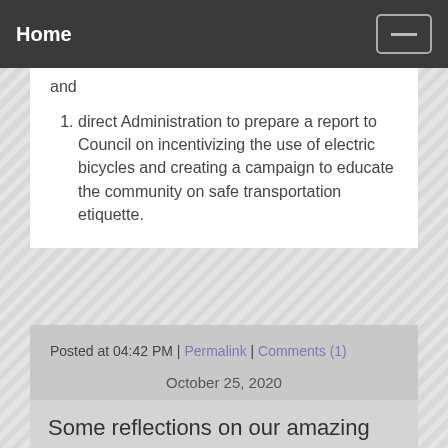Home
and
direct Administration to prepare a report to Council on incentivizing the use of electric bicycles and creating a campaign to educate the community on safe transportation etiquette.
Posted at 04:42 PM | Permalink | Comments (1)
October 25, 2020
Some reflections on our amazing Kamloops business community, Covid 19, and how citizens can help